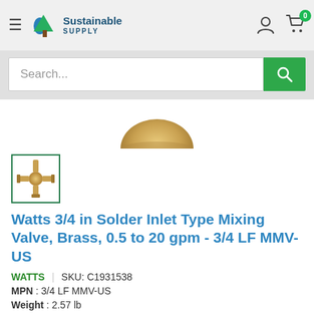Sustainable Supply
[Figure (screenshot): Search bar with green search button on grey background]
[Figure (photo): Partial view of a brass mixing valve fitting, top/dome portion visible]
[Figure (photo): Small thumbnail image of the Watts 3/4 LF MMV-US brass mixing valve, full product view, with green border]
Watts 3/4 in Solder Inlet Type Mixing Valve, Brass, 0.5 to 20 gpm - 3/4 LF MMV-US
WATTS  |  SKU: C1931538
MPN : 3/4 LF MMV-US
Weight : 2.57 lb